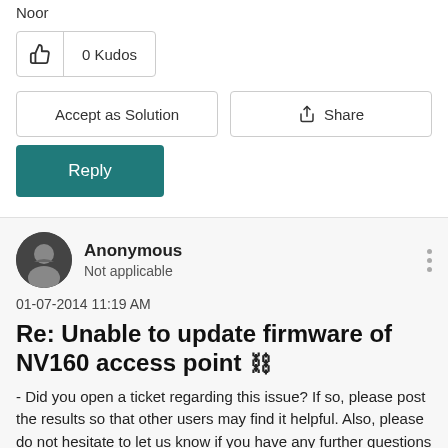Noor
0 Kudos
Accept as Solution
Share
Reply
Anonymous
Not applicable
01-07-2014 11:19 AM
Re: Unable to update firmware of NV160 access point
- Did you open a ticket regarding this issue? If so, please post the results so that other users may find it helpful. Also, please do not hesitate to let us know if you have any further questions regarding this.